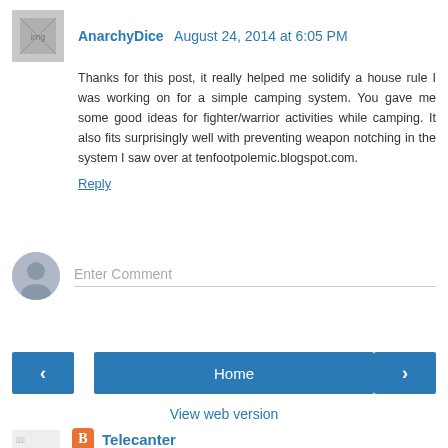AnarchyDice  August 24, 2014 at 6:05 PM
Thanks for this post, it really helped me solidify a house rule I was working on for a simple camping system. You gave me some good ideas for fighter/warrior activities while camping. It also fits surprisingly well with preventing weapon notching in the system I saw over at tenfootpolemic.blogspot.com.
Reply
Enter Comment
Home
View web version
Telecanter